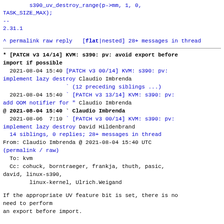s390_uv_destroy_range(p->mm, 1, 0, TASK_SIZE_MAX);
--
2.31.1
^ permalink raw reply [flat|nested] 28+ messages in thread
* [PATCH v3 14/14] KVM: s390: pv: avoid export before import if possible
  2021-08-04 15:40 [PATCH v3 00/14] KVM: s390: pv: implement lazy destroy Claudio Imbrenda
                   ` (12 preceding siblings ...)
  2021-08-04 15:40 ` [PATCH v3 13/14] KVM: s390: pv: add OOM notifier for " Claudio Imbrenda
@ 2021-08-04 15:40 ` Claudio Imbrenda
  2021-08-06  7:10 ` [PATCH v3 00/14] KVM: s390: pv: implement lazy destroy David Hildenbrand
  14 siblings, 0 replies; 28+ messages in thread
From: Claudio Imbrenda @ 2021-08-04 15:40 UTC
(permalink / raw)
  To: kvm
  Cc: cohuck, borntraeger, frankja, thuth, pasic, david, linux-s390,
        linux-kernel, Ulrich.Weigand
If the appropriate UV feature bit is set, there is no need to perform
an export before import.